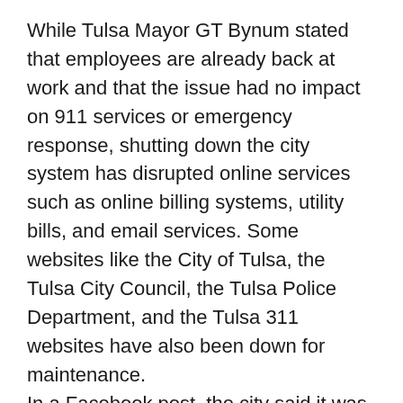While Tulsa Mayor GT Bynum stated that employees are already back at work and that the issue had no impact on 911 services or emergency response, shutting down the city system has disrupted online services such as online billing systems, utility bills, and email services. Some websites like the City of Tulsa, the Tulsa City Council, the Tulsa Police Department, and the Tulsa 311 websites have also been down for maintenance.
In a Facebook post, the city said it was aware of the problem and that customer data had not been compromised during the attack.
In a post on the Tulsa Police Department's Facebook page, the city said: “The City of Tulsa is experiencing technical difficulties on many outward-facing programs that help serve the citizens of Tulsa due to a ransomware attack. No customer information has been comprised, but